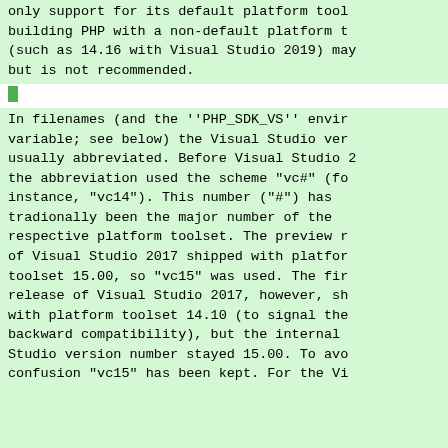only support for its default platform tool building PHP with a non-default platform t (such as 14.16 with Visual Studio 2019) ma but is not recommended.
In filenames (and the ''PHP_SDK_VS'' envir variable; see below) the Visual Studio ver usually abbreviated. Before Visual Studio the abbreviation used the scheme "vc#" (fo instance, "vc14"). This number ("#") has tradionally been the major number of the respective platform toolset. The preview r of Visual Studio 2017 shipped with platfor toolset 15.00, so "vc15" was used. The fir release of Visual Studio 2017, however, sh with platform toolset 14.10 (to signal the backward compatibility), but the internal Studio version number stayed 15.00. To avo confusion "vc15" has been kept. For the V